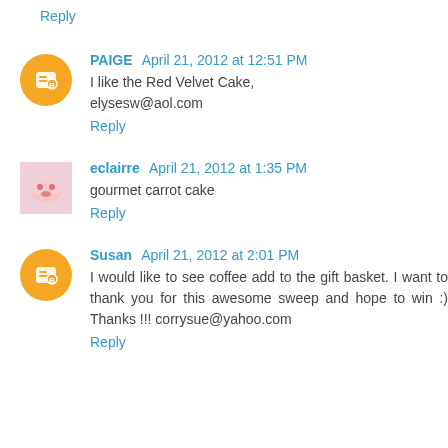Reply
PAIGE  April 21, 2012 at 12:51 PM
I like the Red Velvet Cake,
elysesw@aol.com
Reply
eclairre  April 21, 2012 at 1:35 PM
gourmet carrot cake
Reply
Susan  April 21, 2012 at 2:01 PM
I would like to see coffee add to the gift basket. I want to thank you for this awesome sweep and hope to win :) Thanks !!! corrysue@yahoo.com
Reply